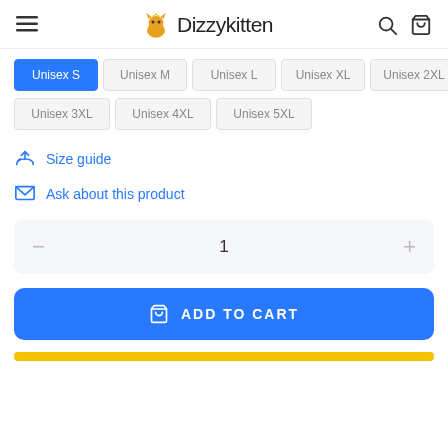Dizzykitten
Unisex S
Unisex M
Unisex L
Unisex XL
Unisex 2XL
Unisex 3XL
Unisex 4XL
Unisex 5XL
Size guide
Ask about this product
1
ADD TO CART